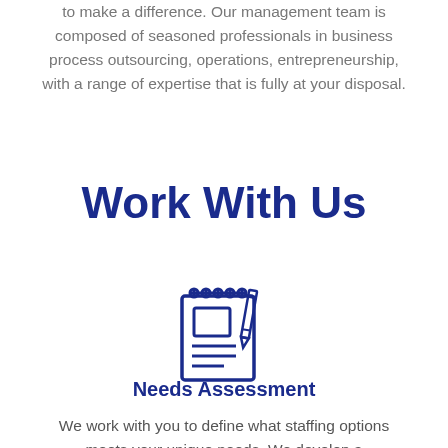to make a difference. Our management team is composed of seasoned professionals in business process outsourcing, operations, entrepreneurship, with a range of expertise that is fully at your disposal.
Work With Us
[Figure (illustration): Icon of a notepad/clipboard with a pencil, rendered in dark navy blue outline style]
Needs Assessment
We work with you to define what staffing options meets your unique needs. We develop a